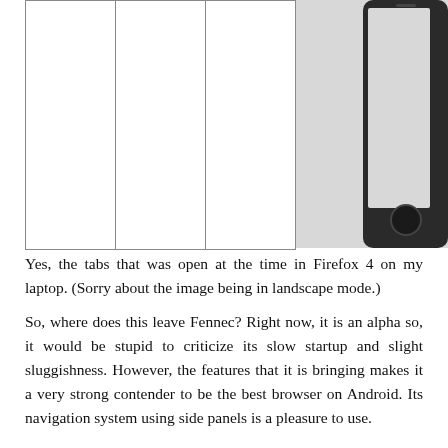[Figure (screenshot): A partial screenshot showing a table with multiple empty columns and a cropped phone device (dark-colored Android phone) with a gray/silver background visible on the right side of the image.]
Yes, the tabs that was open at the time in Firefox 4 on my laptop. (Sorry about the image being in landscape mode.)
So, where does this leave Fennec? Right now, it is an alpha so, it would be stupid to criticize its slow startup and slight sluggishness. However, the features that it is bringing makes it a very strong contender to be the best browser on Android. Its navigation system using side panels is a pleasure to use.